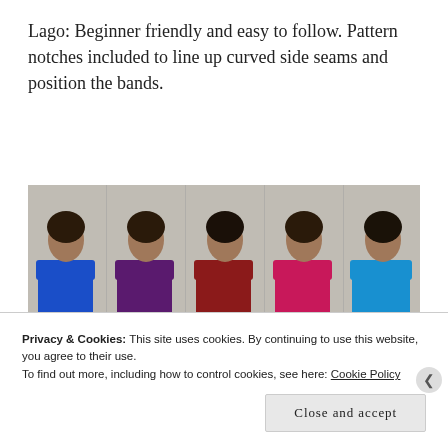Lago: Beginner friendly and easy to follow. Pattern notches included to line up curved side seams and position the bands.
[Figure (photo): Five women photographed from behind, each wearing a sleeveless tank top in different colors: blue, purple, dark red/burgundy, hot pink/magenta, and bright blue/turquoise. The photo has a 'mahlicodesigns' watermark in the lower right corner.]
[Figure (photo): Partial view of another row of women wearing similar tank tops, only the top portion visible.]
Privacy & Cookies: This site uses cookies. By continuing to use this website, you agree to their use.
To find out more, including how to control cookies, see here: Cookie Policy
Close and accept